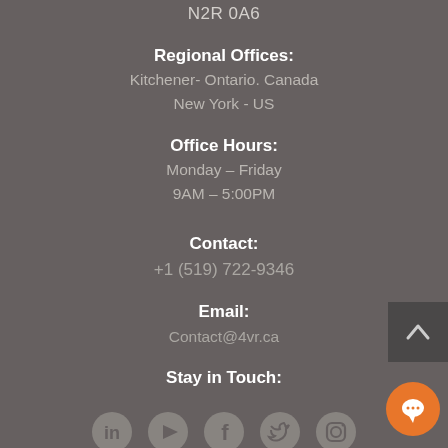N2R 0A6
Regional Offices:
Kitchener- Ontario. Canada
New York - US
Office Hours:
Monday – Friday
9AM – 5:00PM
Contact:
+1 (519) 722-9346
Email:
Contact@4vr.ca
Stay in Touch:
[Figure (illustration): Social media icons row: LinkedIn, YouTube, Facebook, Twitter, Instagram]